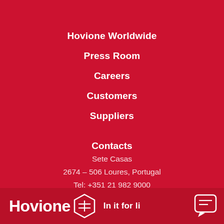Hovione Worldwide
Press Room
Careers
Customers
Suppliers
Contacts
Sete Casas
2674 – 506 Loures, Portugal
Tel: +351 21 982 9000
Fax: +351 21 982 9388
contact@hovione.com
[Figure (logo): Hovione logo with hexagon icon and tagline 'In it for life']